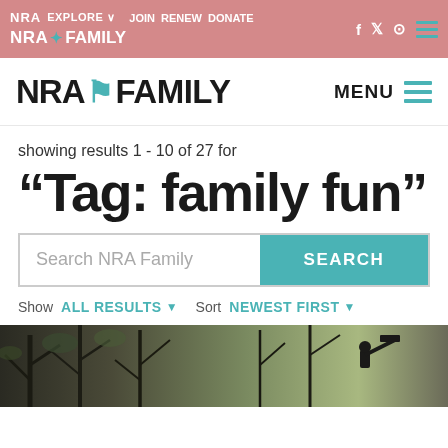NRA EXPLORE JOIN RENEW DONATE NRA FAMILY
NRA FAMILY MENU
showing results 1 - 10 of 27 for
“Tag: family fun”
Search NRA Family
SEARCH
Show ALL RESULTS ∨ Sort NEWEST FIRST ∨
[Figure (photo): Outdoor hunting/nature scene with person holding equipment among bare trees]